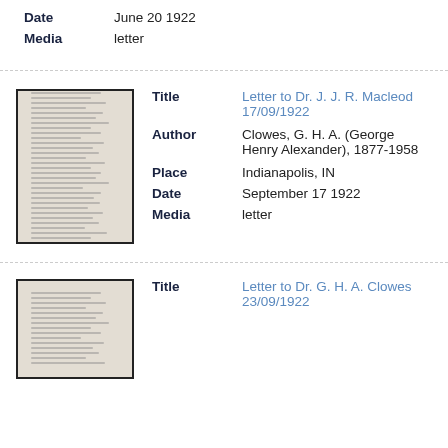Date: June 20 1922
Media: letter
[Figure (photo): Thumbnail image of a handwritten/typed letter document]
Title: Letter to Dr. J. J. R. Macleod 17/09/1922
Author: Clowes, G. H. A. (George Henry Alexander), 1877-1958
Place: Indianapolis, IN
Date: September 17 1922
Media: letter
[Figure (photo): Thumbnail image of a handwritten/typed letter document]
Title: Letter to Dr. G. H. A. Clowes 23/09/1922